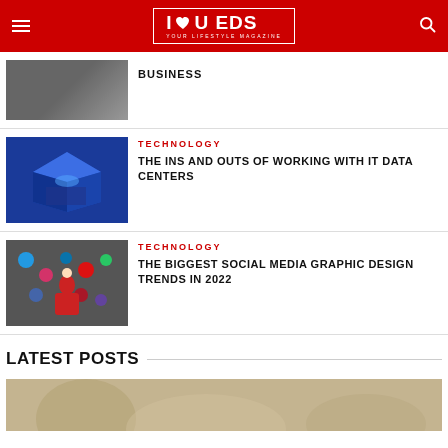I ❤ U EDS — YOUR LIFESTYLE MAGAZINE
BUSINESS
TECHNOLOGY
THE INS AND OUTS OF WORKING WITH IT DATA CENTERS
TECHNOLOGY
THE BIGGEST SOCIAL MEDIA GRAPHIC DESIGN TRENDS IN 2022
LATEST POSTS
[Figure (photo): Partial bottom image showing a person, cropped at page bottom]